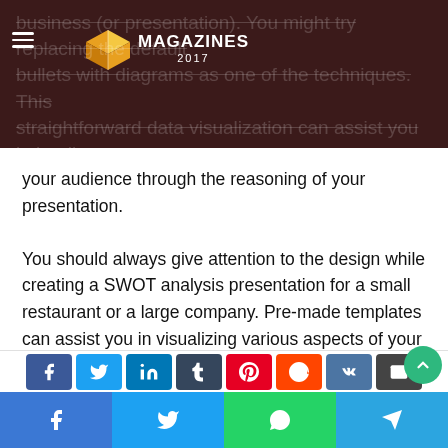Magazines2017 logo and site header
business (or presentation). You might try replacing the default bullets with diagrams as one of the techniques. This straightforward data visualization can assist you in leading your audience through the reasoning of your presentation. You should always give attention to the design while creating a SWOT analysis presentation for a small restaurant or a large company. Pre-made templates can assist you in visualizing various aspects of your report and making the material more accessible and fun. This is the easiest method for creating a memorable presentation that can help you accomplish your lofty business objectives. This will help you to get the most out of SWOT analysis as well.
Social share buttons: Facebook, Twitter, LinkedIn, Tumblr, Pinterest, Reddit, VK, Email, WhatsApp, Telegram